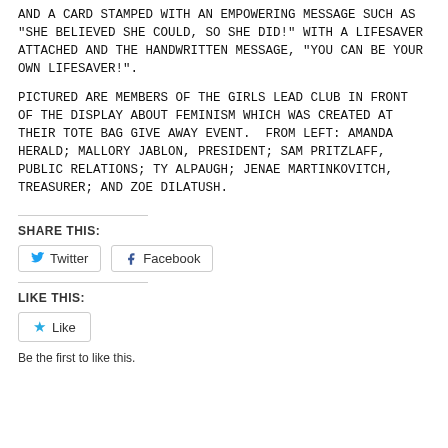and a card stamped with an empowering message such as "She believed she could, so she did!" with a Lifesaver attached and the handwritten message, "You can be your own lifesaver!".
Pictured are members of the Girls Lead club in front of the display about feminism which was created at their tote bag give away event. From left: Amanda Herald; Mallory Jablon, president; Sam Pritzlaff, public relations; Ty Alpaugh; Jenae Martinkovitch, treasurer; and Zoe Dilatush.
Share this:
Twitter  Facebook
Like this:
Like
Be the first to like this.